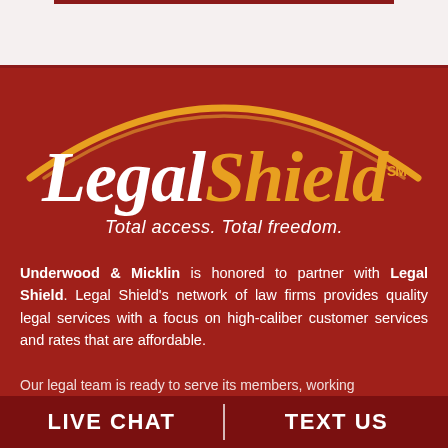[Figure (logo): LegalShield logo with gold arc above. 'Legal' in white italic serif, 'Shield' in gold italic serif, with SM superscript. Tagline: Total access. Total freedom.]
Underwood & Micklin is honored to partner with Legal Shield. Legal Shield's network of law firms provides quality legal services with a focus on high-caliber customer services and rates that are affordable.
Our legal team is ready to serve its members, working
LIVE CHAT | TEXT US